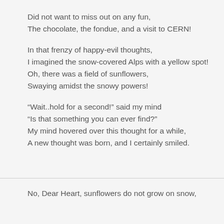Did not want to miss out on any fun,
The chocolate, the fondue, and a visit to CERN!
In that frenzy of happy-evil thoughts,
I imagined the snow-covered Alps with a yellow spot!
Oh, there was a field of sunflowers,
Swaying amidst the snowy powers!
“Wait..hold for a second!” said my mind
“Is that something you can ever find?”
My mind hovered over this thought for a while,
A new thought was born, and I certainly smiled.
No, Dear Heart, sunflowers do not grow on snow,